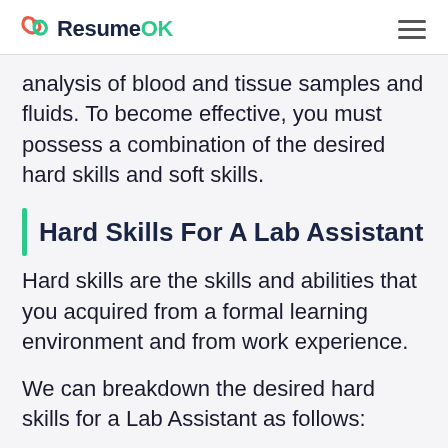ResumeOK
analysis of blood and tissue samples and fluids. To become effective, you must possess a combination of the desired hard skills and soft skills.
Hard Skills For A Lab Assistant
Hard skills are the skills and abilities that you acquired from a formal learning environment and from work experience.
We can breakdown the desired hard skills for a Lab Assistant as follows:
Proficiency with Lab Equipment